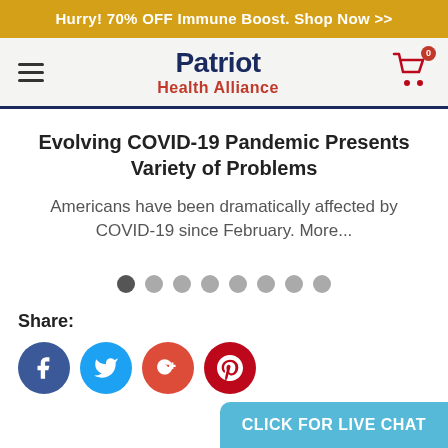Hurry! 70% OFF Immune Boost. Shop Now >>
[Figure (logo): Patriot Health Alliance logo with hamburger menu and cart icon]
Evolving COVID-19 Pandemic Presents Variety of Problems
Americans have been dramatically affected by COVID-19 since February. More...
[Figure (other): Slider pagination dots, 8 total, first one active/dark]
Share:
[Figure (infographic): Social share buttons: Facebook, Twitter, Google+, Pinterest]
CLICK FOR LIVE CHAT